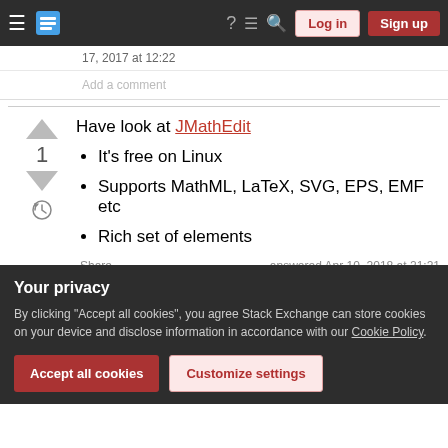Stack Exchange navigation bar with hamburger menu, logo, help, comments, search icons, Log in and Sign up buttons
17, 2017 at 12:22
Add a comment
Have look at JMathEdit
It's free on Linux
Supports MathML, LaTeX, SVG, EPS, EMF etc
Rich set of elements
Share	answered Apr 10, 2018 at 21:21
Your privacy
By clicking "Accept all cookies", you agree Stack Exchange can store cookies on your device and disclose information in accordance with our Cookie Policy.
Accept all cookies
Customize settings